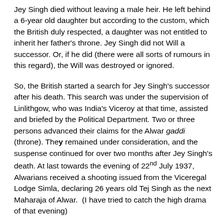Jey Singh died without leaving a male heir. He left behind a 6-year old daughter but according to the custom, which the British duly respected, a daughter was not entitled to inherit her father's throne. Jey Singh did not Will a successor. Or, if he did (there were all sorts of rumours in this regard), the Will was destroyed or ignored.
So, the British started a search for Jey Singh's successor after his death. This search was under the supervision of Linlithgow, who was India's Viceroy at that time, assisted and briefed by the Political Department. Two or three persons advanced their claims for the Alwar gaddi (throne). They remained under consideration, and the suspense continued for over two months after Jey Singh's death. At last towards the evening of 22nd July 1937, Alwarians received a shooting issued from the Viceregal Lodge Simla, declaring 26 years old Tej Singh as the next Maharaja of Alwar. (I have tried to catch the high drama of that evening)
Tej Singh was a distant cousin of Jey Singh but so were the other claimants. No clarification of the decision accompanied the order. But it was widely known that Mr. Wylie, now a Political Agent (Resident) at Jaipur, had a major hand in the selection.